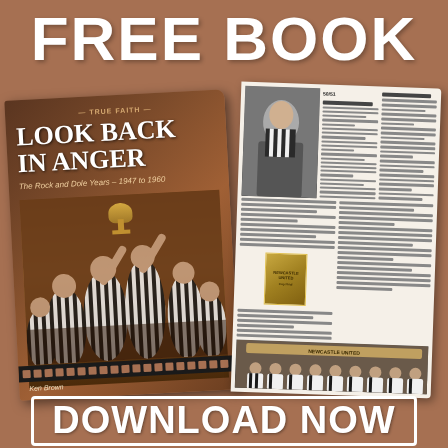FREE BOOK
[Figure (photo): Promotional advertisement showing a book titled 'Look Back in Anger: The Rock and Dole Years – 1947 to 1960' by Ken Brown, published by True Faith. The book cover features a sepia-toned photo of football players celebrating with a trophy. Next to the book cover are open pages showing text columns, a player portrait photo, and a team group photograph at the bottom.]
DOWNLOAD NOW